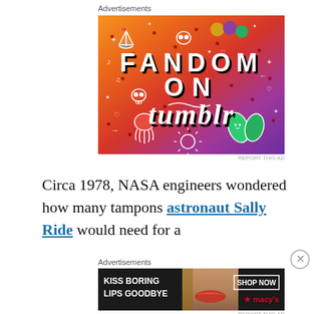Advertisements
[Figure (illustration): Colorful advertisement for 'Fandom on Tumblr' with gradient background from orange to purple, featuring white doodle illustrations (sailboat, skull, squid, leaves, musical notes, stars, arrows, hearts) and red dots scattered throughout. Large bold text reads 'FANDOM ON tumblr' with black shadow.]
REPORT THIS AD
Circa 1978, NASA engineers wondered how many tampons astronaut Sally Ride would need for a
Advertisements
[Figure (illustration): Black advertisement banner for Macy's showing a woman's face with red lipstick, text 'KISS BORING LIPS GOODBYE' on the left, and 'SHOP NOW' button with Macy's red star logo on the right.]
REPORT THIS AD